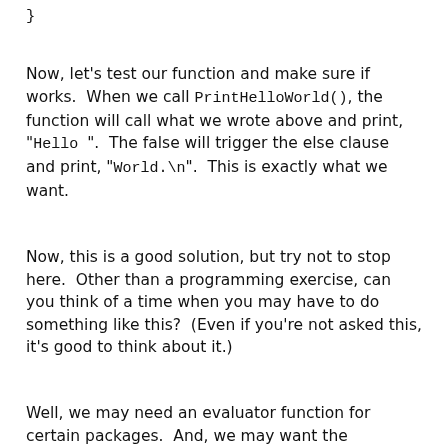}
Now, let's test our function and make sure if works.  When we call PrintHelloWorld(), the function will call what we wrote above and print, "Hello ".  The false will trigger the else clause and print, "World.\n".  This is exactly what we want.
Now, this is a good solution, but try not to stop here.  Other than a programming exercise, can you think of a time when you may have to do something like this?  (Even if you're not asked this, it's good to think about it.)
Well, we may need an evaluator function for certain packages.  And, we may want the evaluator function to do more than just evaluate (e.g., print to a log, etc.).  In this case, we would want to make sure that an evaluator did more than just return a boolean value, and it's a case of where we would write such a function.